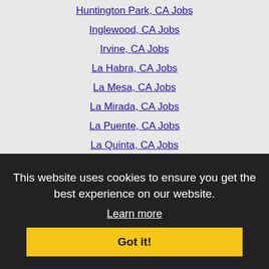Huntington Park, CA Jobs
Inglewood, CA Jobs
Irvine, CA Jobs
La Habra, CA Jobs
La Mesa, CA Jobs
La Mirada, CA Jobs
La Puente, CA Jobs
La Quinta, CA Jobs
Laguna Beach, CA Jobs
Laguna Niguel, CA Jobs
Lake Elsinore, CA Jobs
Lancaster, CA Jobs
Lompoc, CA Jobs
Long Beach, CA Jobs
Los Angeles, CA Jobs
Lynwood, CA Jobs
Malibu, CA Jobs
This website uses cookies to ensure you get the best experience on our website.
Learn more
Got it!